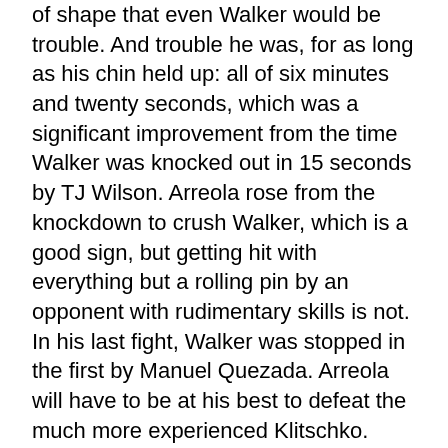of shape that even Walker would be trouble. And trouble he was, for as long as his chin held up: all of six minutes and twenty seconds, which was a significant improvement from the time Walker was knocked out in 15 seconds by TJ Wilson. Arreola rose from the knockdown to crush Walker, which is a good sign, but getting hit with everything but a rolling pin by an opponent with rudimentary skills is not. In his last fight, Walker was stopped in the first by Manuel Quezada. Arreola will have to be at his best to defeat the much more experienced Klitschko.
For Klitschko, 37-2 (36), this will be his third fight since returning from a four-year layoff. His comeback, however, might not be as successful as it appears. Samuel Peter, whom Klitschko forced to submit after eight rounds of corporal punishment for the WBC gimcrack, fought like a man given to self-medication in the body; once Klitschko fought all...